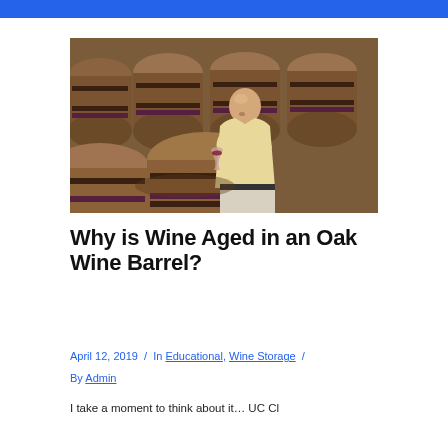[Figure (photo): A man in a light yellow shirt standing among rows of oak wine barrels in a cellar, sniffing a glass of red wine]
Why is Wine Aged in an Oak Wine Barrel?
April 12, 2019 / In Educational, Wine Storage / By Admin
I take a moment to...